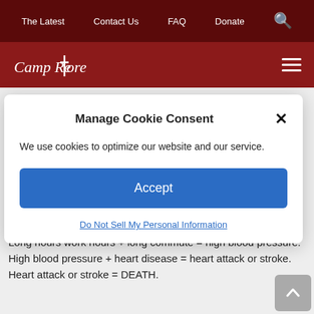The Latest   Contact Us   FAQ   Donate
[Figure (logo): Camp Restore logo with cross icon on red bar, hamburger menu icon on right]
Manage Cookie Consent
We use cookies to optimize our website and our service.
Accept
Do Not Sell My Personal Information
Fast food = obesity.
Obesity = heart disease.
Long hours work hours + long commute = high blood pressure.
High blood pressure + heart disease = heart attack or stroke.
Heart attack or stroke = DEATH.